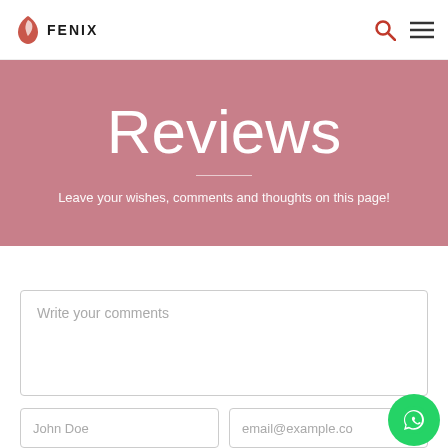FENIX
Reviews
Leave your wishes, comments and thoughts on this page!
Write your comments
John Doe
email@example.co